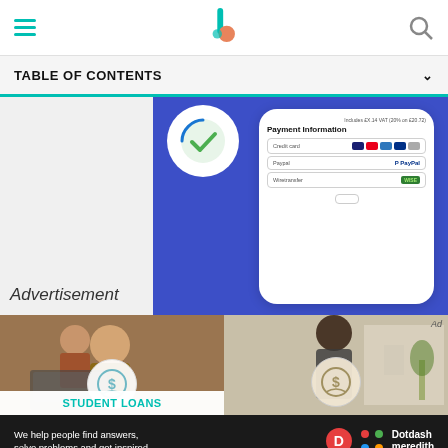TABLE OF CONTENTS
TABLE OF CONTENTS
[Figure (screenshot): Payment Information screen showing a phone mockup with credit card, PayPal, and Wiretransfer options on a blue background, with a green checkmark circle]
Advertisement
[Figure (photo): Two people looking at a laptop with a Student Loans icon overlay]
STUDENT LOANS
[Figure (photo): Woman standing outdoors with a coin/money icon overlay, Ad label]
We help people find answers, solve problems and get inspired. Dotdash meredith